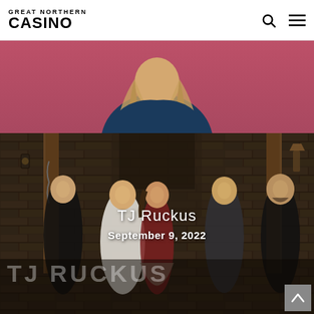GREAT NORTHERN CASINO
[Figure (photo): Partial view of a performer with long hair seen from behind, pink/red background, only upper body visible]
[Figure (photo): Band photo of TJ Ruckus — five musicians standing in front of a rustic stone wall with wooden posts. Text overlay: 'TJ Ruckus' and 'September 9, 2022'. Large watermark text 'TJ RUCKUS' at bottom of image.]
TJ Ruckus
September 9, 2022